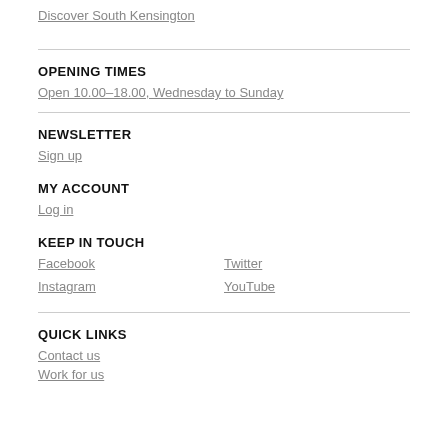Discover South Kensington
OPENING TIMES
Open 10.00–18.00, Wednesday to Sunday
NEWSLETTER
Sign up
MY ACCOUNT
Log in
KEEP IN TOUCH
Facebook
Twitter
Instagram
YouTube
QUICK LINKS
Contact us
Work for us